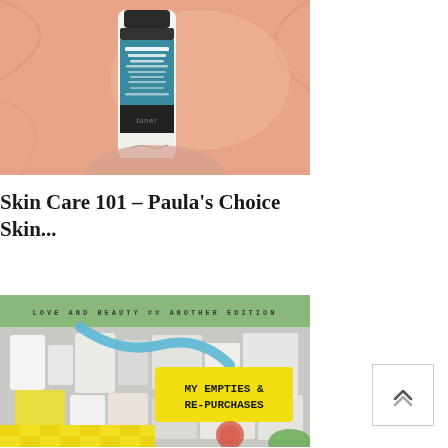[Figure (photo): Paula's Choice Skin Balancing Pore-Reducing Toner bottle lying on a peach/salmon colored fabric background]
Skin Care 101 – Paula's Choice Skin...
[Figure (photo): Blog thumbnail with olive green header text reading 'LOVE AND BEAUTY ## ANOTHER EDITION', and a yellow banner overlay reading 'MY EMPTIES & RE-PURCHASES' over a collage of various beauty product empties on a yellow plaid background]